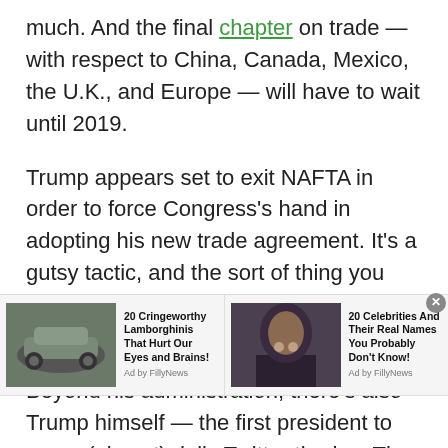much. And the final chapter on trade — with respect to China, Canada, Mexico, the U.K., and Europe — will have to wait until 2019.
Trump appears set to exit NAFTA in order to force Congress's hand in adopting his new trade agreement. It's a gutsy tactic, and the sort of thing you wouldn't expect from a typical president. It's likely to work.
Beyond his administration, there's also Trump himself — the first president to go on (almost) daily Twitter tirades. The most outspoken (perhaps) in his criticism of the media. And if you doubted that there was a president who could get under liberals'
[Figure (other): Advertisement bar with two sponsored content items: '20 Cringeworthy Lamborghinis That Hurt Our Eyes and Brains! Ad by FillyNews' with a car image, and '20 Celebrities And Their Real Names You Probably Don't Know! Ad by FillyNews' with a person image. Has a close button.]